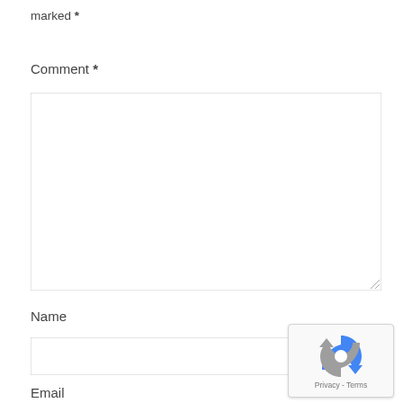marked *
Comment *
[Figure (other): Empty comment textarea input box with resize handle in bottom-right corner]
Name
[Figure (other): Empty name text input box]
[Figure (other): reCAPTCHA badge with Privacy and Terms links]
Email